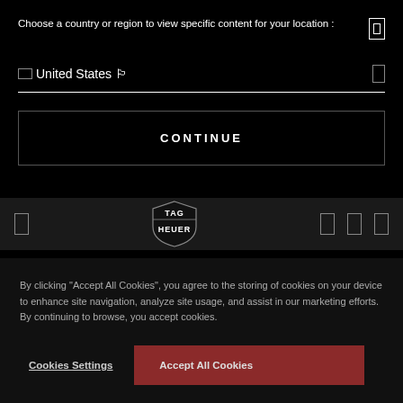Choose a country or region to view specific content for your location :
United States 🏳
CONTINUE
[Figure (logo): TAG Heuer logo — shield-shaped emblem with TAG on top and HEUER on bottom in white on dark background]
By clicking “Accept All Cookies”, you agree to the storing of cookies on your device to enhance site navigation, analyze site usage, and assist in our marketing efforts. By continuing to browse, you accept cookies.
Cookies Settings
Accept All Cookies